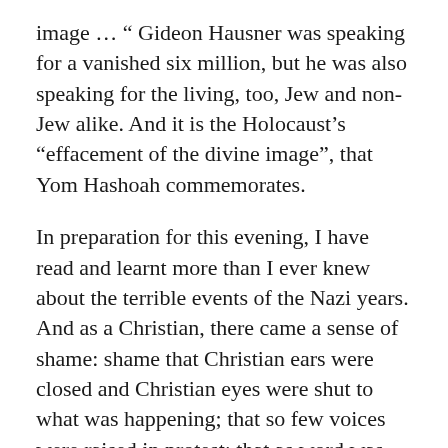image … " Gideon Hausner was speaking for a vanished six million, but he was also speaking for the living, too, Jew and non-Jew alike. And it is the Holocaust's "effacement of the divine image", that Yom Hashoah commemorates.
In preparation for this evening, I have read and learnt more than I ever knew about the terrible events of the Nazi years. And as a Christian, there came a sense of shame: shame that Christian ears were closed and Christian eyes were shut to what was happening; that so few voices were raised in protest; that as word was taken to London and Washington, there was such a refusal to believe, such an unwillingness to help. There were of course, brave and noble spirits who spoke and acted against the Nazis, many of whom died in consequence. But